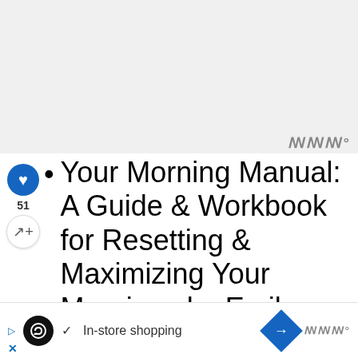[Figure (other): Gray empty advertisement or image placeholder area at the top of the page]
Your Morning Manual: A Guide & Workbook for Resetting & Maximizing Your Mornings by Emily Bredeson ($15.00)
The Well Ordered Kitchen Basic
[Figure (screenshot): Bottom advertisement bar showing loop/shopping app UI with In-store shopping text, navigation diamond button, and WW logo]